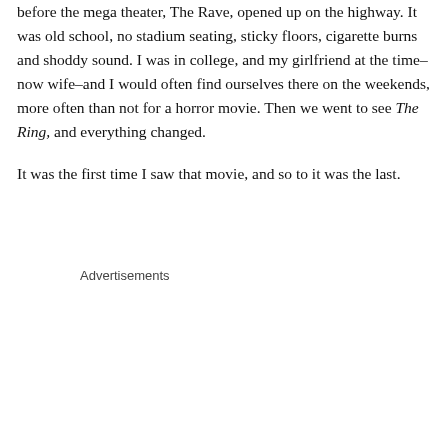before the mega theater, The Rave, opened up on the highway. It was old school, no stadium seating, sticky floors, cigarette burns and shoddy sound. I was in college, and my girlfriend at the time–now wife–and I would often find ourselves there on the weekends, more often than not for a horror movie. Then we went to see The Ring, and everything changed.
It was the first time I saw that movie, and so to it was the last.
Advertisements